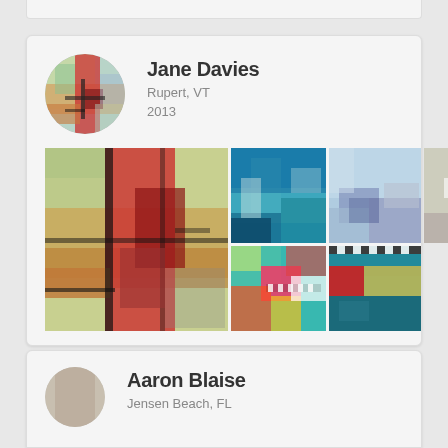[Figure (other): Partial top edge of a card UI element, cropped at top of page]
Jane Davies
Rupert, VT
2013
[Figure (photo): Profile photo of Jane Davies shown as circular avatar with abstract colorful painting]
[Figure (photo): Grid of abstract artwork paintings by Jane Davies — large abstract mixed media piece on left, smaller thumbnails on right showing colorful abstract works]
Aaron Blaise
Jensen Beach, FL
[Figure (photo): Partial circular avatar for Aaron Blaise, cropped at bottom of page]